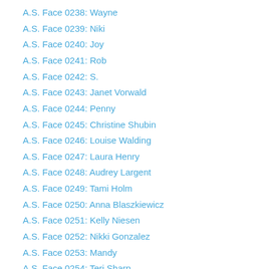A.S. Face 0238: Wayne
A.S. Face 0239: Niki
A.S. Face 0240: Joy
A.S. Face 0241: Rob
A.S. Face 0242: S.
A.S. Face 0243: Janet Vorwald
A.S. Face 0244: Penny
A.S. Face 0245: Christine Shubin
A.S. Face 0246: Louise Walding
A.S. Face 0247: Laura Henry
A.S. Face 0248: Audrey Largent
A.S. Face 0249: Tami Holm
A.S. Face 0250: Anna Blaszkiewicz
A.S. Face 0251: Kelly Niesen
A.S. Face 0252: Nikki Gonzalez
A.S. Face 0253: Mandy
A.S. Face 0254: Teri Sharp
A.S. Face 0255: Alexa Tyson
A.S. Face 0256: Meloni Thompson
A.S. Face 0257: Paul Evert